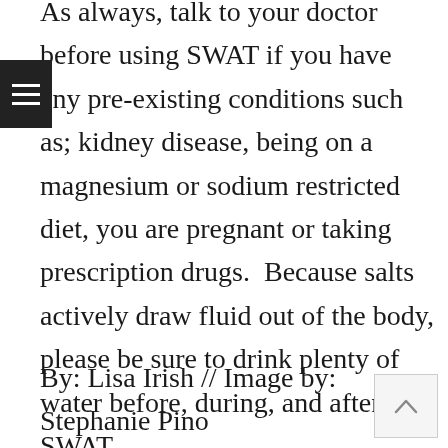As always, talk to your doctor before using SWAT if you have any pre-existing conditions such as; kidney disease, being on a magnesium or sodium restricted diet, you are pregnant or taking prescription drugs. Because salts actively draw fluid out of the body, please be sure to drink plenty of water before, during, and after any SWAT.
By: Lisa Irish // Image by: Stephanie Pino